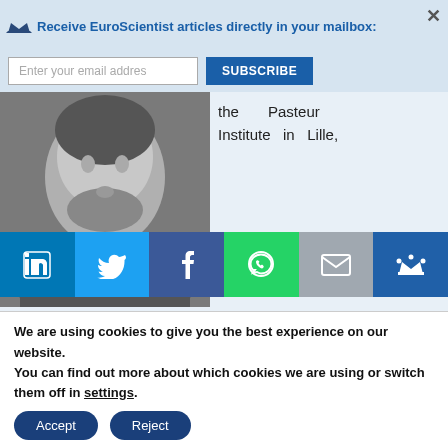Receive EuroScientist articles directly in your mailbox:
[Figure (screenshot): Email subscription bar with input field and Subscribe button]
[Figure (photo): Black and white photograph of elderly scientist]
the Pasteur Institute in Lille,
[Figure (infographic): Social media sharing bar with LinkedIn, Twitter, Facebook, WhatsApp, Email, and Crown icons]
War. In 1921 they discovered the vaccine against tuberculosis, which had taken the lives of Guerin's wife and father.
Jonas Salk
We are using cookies to give you the best experience on our website.
You can find out more about which cookies we are using or switch them off in settings.
Accept  Reject